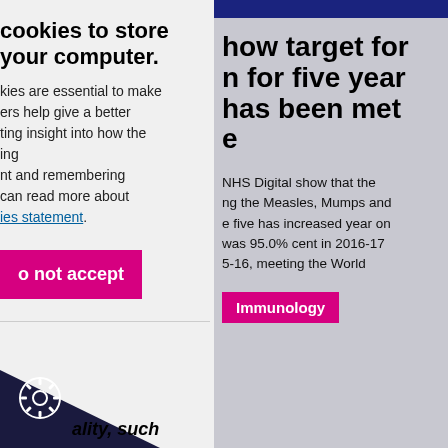cookies to store your computer.
kies are essential to make ers help give a better ting insight into how the ing nt and remembering can read more about ies statement.
o not accept
how target for n for five year has been met e
NHS Digital show that the ng the Measles, Mumps and e five has increased year on was 95.0% cent in 2016-17 5-16, meeting the World
Immunology
ality, such